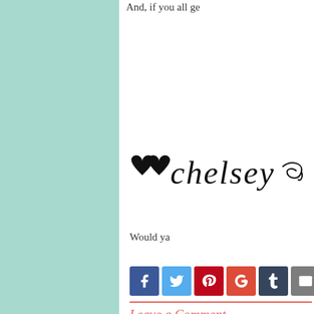And, if you all ge
[Figure (illustration): Handwritten cursive signature reading 'chelsey' with two small black hearts to the left and a decorative swirl to the right]
Would ya
[Figure (infographic): Social sharing buttons row: Facebook (blue), Twitter (light blue), Pinterest (red), Google+ (orange-red), Tumblr (dark navy), Email (gray)]
Leave a Comment